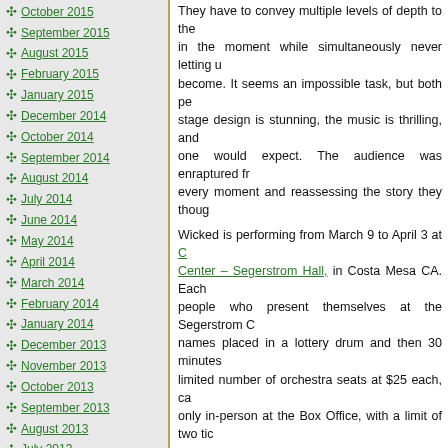October 2015
September 2015
August 2015
February 2015
January 2015
December 2014
October 2014
September 2014
August 2014
July 2014
June 2014
May 2014
April 2014
March 2014
February 2014
January 2014
December 2013
November 2013
October 2013
September 2013
August 2013
July 2013
June 2013
May 2013
April 2013
March 2013
February 2013
They have to convey multiple levels of depth to the... in the moment while simultaneously never letting u... become. It seems an impossible task, but both pe... stage design is stunning, the music is thrilling, and ... one would expect. The audience was enraptured fro... every moment and reassessing the story they though...
Wicked is performing from March 9 to April 3 at ... Center – Segerstrom Hall, in Costa Mesa CA. Each ... people who present themselves at the Segerstrom C... names placed in a lottery drum and then 30 minutes... limited number of orchestra seats at $25 each, cas... only in-person at the Box Office, with a limit of two tic...
Buy Wicked Costa Mesa CA Tickets – Use Cod... Wicked Orange County Performing Arts Cent... Orders over $350!
[Figure (other): Share/Save social media sharing button widget with icons for Facebook, Twitter, and other platforms]
Tags: Wicked Costa Mesa CA Tickets, Wicked Ora... Segerstrom Center for the Arts Tickets
Posted in Uncategorized | No Comments »